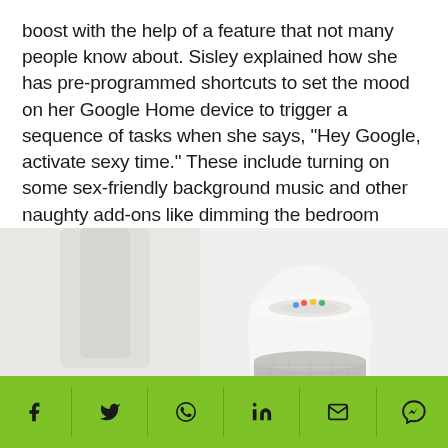boost with the help of a feature that not many people know about. Sisley explained how she has pre-programmed shortcuts to set the mood on her Google Home device to trigger a sequence of tasks when she says, "Hey Google, activate sexy time." These include turning on some sex-friendly background music and other naughty add-ons like dimming the bedroom lights.
[Figure (photo): Photo of a Google Home smart speaker device, white cylindrical shape with a grey mesh base, sitting on a white surface with a blurred light background]